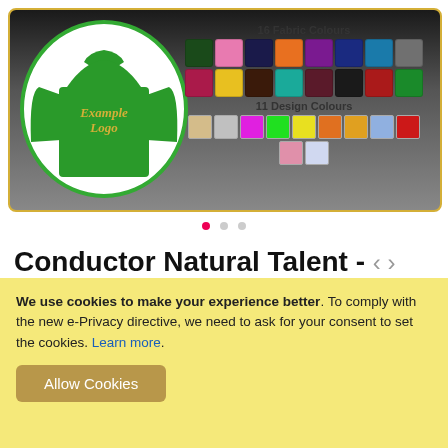[Figure (photo): Product image of a green sweatshirt with 'Example Logo' text on it, shown in a circle, alongside 16 fabric colour swatches and 11 design colour swatches on a dark gradient background with gold border]
● ○ ○
Conductor Natural Talent - < > SWEATSHIRT
★★★★★ | Be the first to review this product
We use cookies to make your experience better. To comply with the new e-Privacy directive, we need to ask for your consent to set the cookies. Learn more.
Allow Cookies